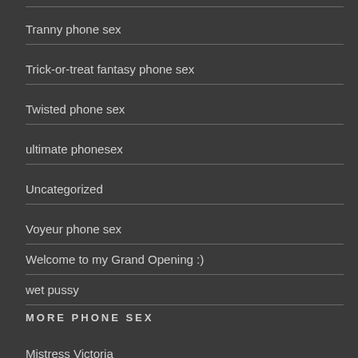Tranny phone sex
Trick-or-treat fantasy phone sex
Twisted phone sex
ultimate phonesex
Uncategorized
Voyeur phone sex
Welcome to my Grand Opening :)
wet pussy
MORE PHONE SEX
Mistress Victoria